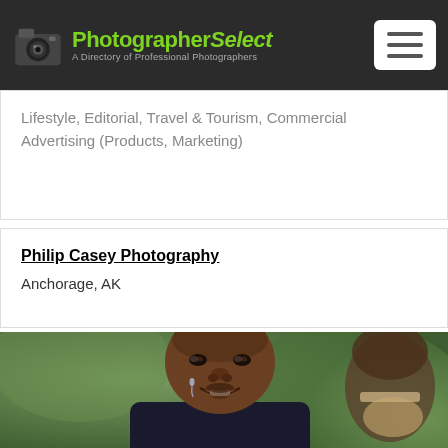PhotographerSelect – A Directory of Professional Photographers
Lifestyle, Editorial, Travel & Tourism, Commercial Advertising (Products, Marketing)
Philip Casey Photography
Anchorage, AK
[Figure (photo): Close-up portrait of a young Black man in a suit with a bow tie, smiling with a tear on his cheek, another person visible in the background, outdoor setting with green bokeh background.]